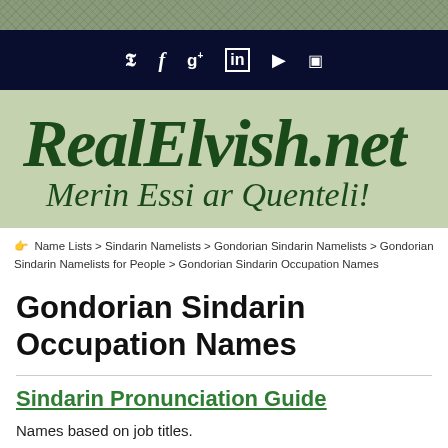[Figure (logo): Top decorative stripe with woven/fabric texture pattern in olive green]
Social media icons navigation bar: Twitter, Facebook, Google+, LinkedIn, YouTube, Instagram
[Figure (logo): RealElvish.net logo in dark green italic script font with tagline 'Merin Essi ar Quenteli!' on sage green background]
Name Lists > Sindarin Namelists > Gondorian Sindarin Namelists > Gondorian Sindarin Namelists for People > Gondorian Sindarin Occupation Names
Gondorian Sindarin Occupation Names
Sindarin Pronunciation Guide
Names based on job titles.